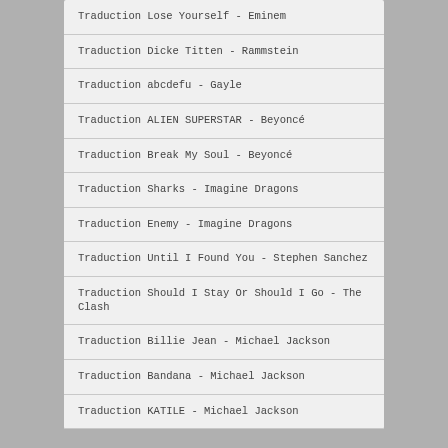Traduction Lose Yourself - Eminem
Traduction Dicke Titten - Rammstein
Traduction abcdefu - Gayle
Traduction ALIEN SUPERSTAR - Beyoncé
Traduction Break My Soul - Beyoncé
Traduction Sharks - Imagine Dragons
Traduction Enemy - Imagine Dragons
Traduction Until I Found You - Stephen Sanchez
Traduction Should I Stay Or Should I Go - The Clash
Traduction Billie Jean - Michael Jackson
Traduction Bandana - Michael Jackson
Traduction KATILE - Michael Jackson